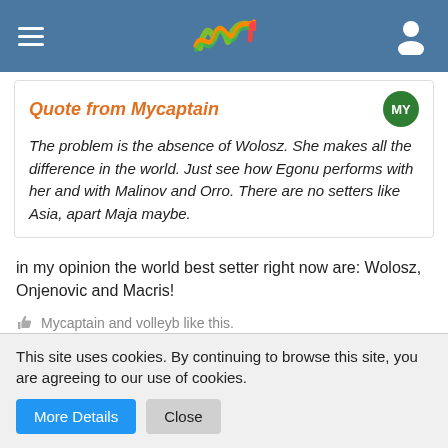Navigation bar with hamburger menu, logo, and user icon
Quote from Mycaptain
The problem is the absence of Wolosz. She makes all the difference in the world. Just see how Egonu performs with her and with Malinov and Orro. There are no setters like Asia, apart Maja maybe.
in my opinion the world best setter right now are: Wolosz, Onjenovic and Macris!
Mycaptain and volleyb like this.
avid
Enlightened
This site uses cookies. By continuing to browse this site, you are agreeing to our use of cookies.